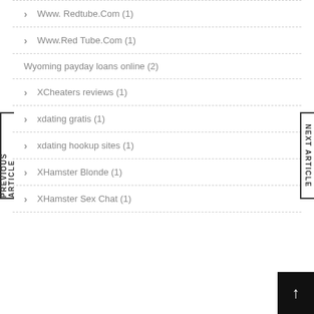Www. Redtube.Com (1)
Www.Red Tube.Com (1)
Wyoming payday loans online (2)
XCheaters reviews (1)
xdating gratis (1)
xdating hookup sites (1)
XHamster Blonde (1)
XHamster Sex Chat (1)